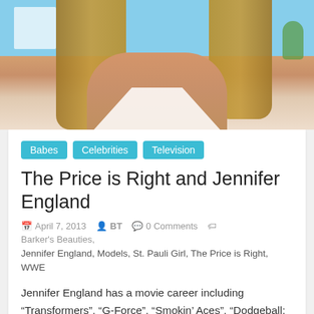[Figure (photo): Photo of a blonde woman in a white halter top, photographed from mid-torso up, with blue sky and white building visible in background]
Babes
Celebrities
Television
The Price is Right and Jennifer England
April 7, 2013   BT   0 Comments   Barker's Beauties, Jennifer England, Models, St. Pauli Girl, The Price is Right, WWE
Jennifer England has a movie career including “Transformers”, “G-Force”, “Smokin’ Aces”, “Dodgeball: A True Underdog Story” and “Fast and Furious”.
Read more
[Figure (photo): Partial view of another photo at the bottom of the page, showing what appears to be a person in colorful clothing]